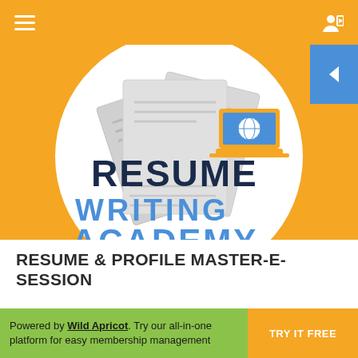[Figure (logo): Resume Writing Academy logo — white circle with gray document pages in background, 'RESUME' in dark navy bold text, 'WRITING ACADEMY' in blue bold text, and a laptop icon with globe in orange/blue above the text]
RESUME & PROFILE MASTER-E-SESSION
Powered by Wild Apricot. Try our all-in-one platform for easy membership management  TRY IT FREE